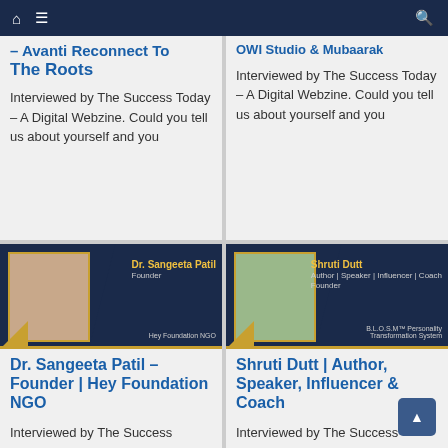Navigation bar with home, menu, and search icons
– Avanti Reconnect To The Roots
Interviewed by The Success Today – A Digital Webzine. Could you tell us about yourself and you
OWI Studio & Mubaarak
Interviewed by The Success Today – A Digital Webzine. Could you tell us about yourself and you
[Figure (photo): Dr. Sangeeta Patil, Founder, Hey Foundation NGO – promotional interview card with dark navy background and photo]
Dr. Sangeeta Patil – Founder | Hey Foundation NGO
Interviewed by The Success
[Figure (photo): Shruti Dutt, Author, Speaker, Influencer, Coach, Founder – promotional interview card with dark navy background and photo]
Shruti Dutt | Author, Speaker, Influencer & Coach
Interviewed by The Success